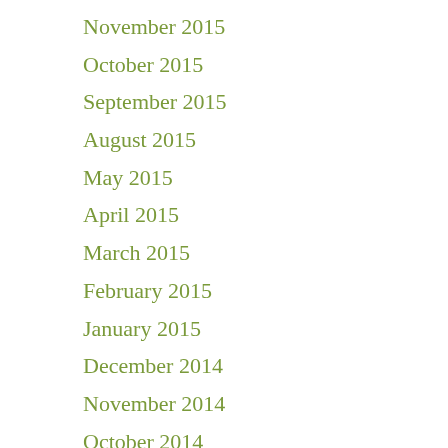November 2015
October 2015
September 2015
August 2015
May 2015
April 2015
March 2015
February 2015
January 2015
December 2014
November 2014
October 2014
September 2014
August 2014
July 2014
June 2014
May 2014